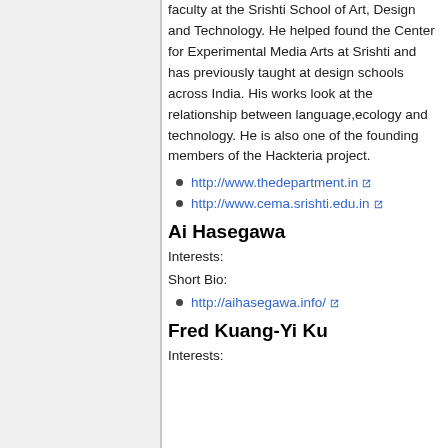faculty at the Srishti School of Art, Design and Technology. He helped found the Center for Experimental Media Arts at Srishti and has previously taught at design schools across India. His works look at the relationship between language,ecology and technology. He is also one of the founding members of the Hackteria project.
http://www.thedepartment.in
http://www.cema.srishti.edu.in
Ai Hasegawa
Interests:
Short Bio:
http://aihasegawa.info/
Fred Kuang-Yi Ku
Interests: